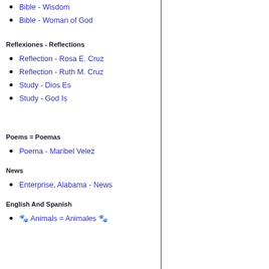Bible - Wisdom
Bible - Woman of God
Reflexiones - Reflections
Reflection - Rosa E. Cruz
Reflection - Ruth M. Cruz
Study - Dios Es
Study - God Is
Poems = Poemas
Poema - Maribel Velez
News
Enterprise, Alabama - News
English And Spanish
🐾 Animals = Animales 🐾